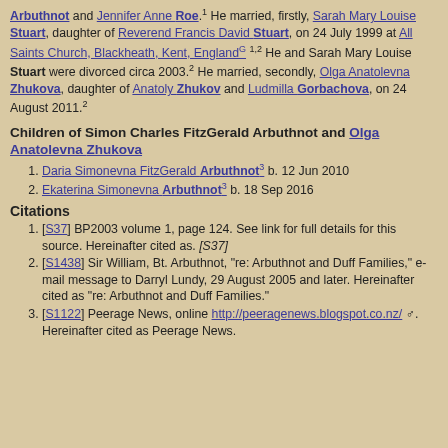Arbuthnot and Jennifer Anne Roe.1 He married, firstly, Sarah Mary Louise Stuart, daughter of Reverend Francis David Stuart, on 24 July 1999 at All Saints Church, Blackheath, Kent, EnglandG 1,2 He and Sarah Mary Louise Stuart were divorced circa 2003.2 He married, secondly, Olga Anatolevna Zhukova, daughter of Anatoly Zhukov and Ludmilla Gorbachova, on 24 August 2011.2
Children of Simon Charles FitzGerald Arbuthnot and Olga Anatolevna Zhukova
Daria Simonevna FitzGerald Arbuthnot3 b. 12 Jun 2010
Ekaterina Simonevna Arbuthnot3 b. 18 Sep 2016
Citations
[S37] BP2003 volume 1, page 124. See link for full details for this source. Hereinafter cited as. [S37]
[S1438] Sir William, Bt. Arbuthnot, "re: Arbuthnot and Duff Families," e-mail message to Darryl Lundy, 29 August 2005 and later. Hereinafter cited as "re: Arbuthnot and Duff Families."
[S1122] Peerage News, online http://peeragenews.blogspot.co.nz/ . Hereinafter cited as Peerage News.